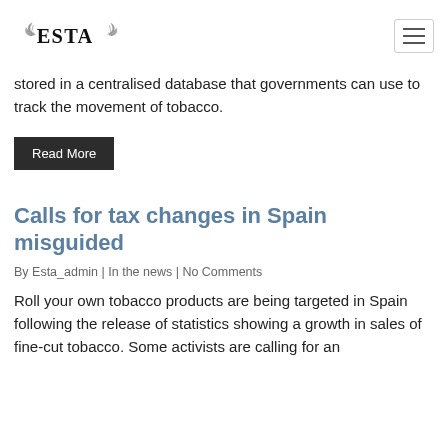ESTA
stored in a centralised database that governments can use to track the movement of tobacco.
Read More
Calls for tax changes in Spain misguided
By Esta_admin | In the news | No Comments
Roll your own tobacco products are being targeted in Spain following the release of statistics showing a growth in sales of fine-cut tobacco. Some activists are calling for an